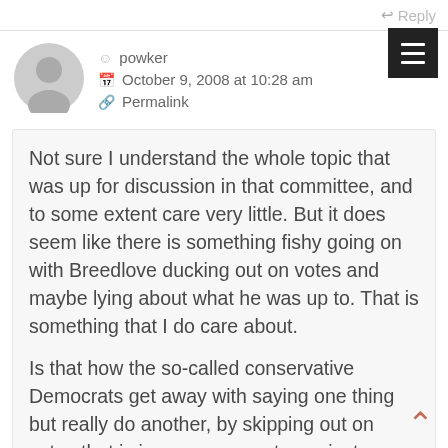Reply
powker
October 9, 2008 at 10:28 am
Permalink
Not sure I understand the whole topic that was up for discussion in that committee, and to some extent care very little. But it does seem like there is something fishy going on with Breedlove ducking out on votes and maybe lying about what he was up to. That is something that I do care about.

Is that how the so-called conservative Democrats get away with saying one thing but really do another, by skipping out on votes that is in essence a vote against conservative legislation?